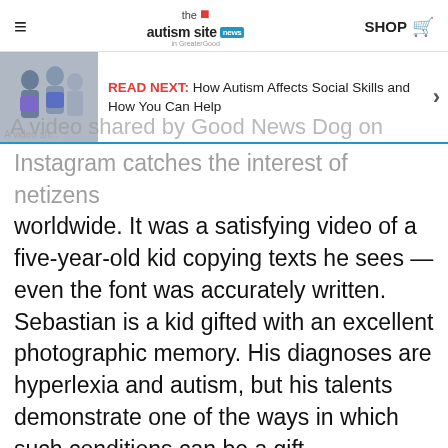the autism site news — SHOP
[Figure (screenshot): READ NEXT banner with photo of people and text: How Autism Affects Social Skills and How You Can Help]
A video shared by Good News Dog on Instagram catches the interest of netizens worldwide. It was a satisfying video of a five-year-old kid copying texts he sees — even the font was accurately written. Sebastian is a kid gifted with an excellent photographic memory. His diagnoses are hyperlexia and autism, but his talents demonstrate one of the ways in which such conditions can be a gift.